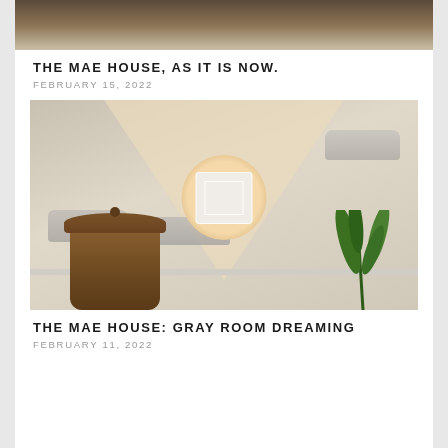[Figure (photo): Top portion of a room photo, cropped, showing wood floors and furniture]
THE MAE HOUSE, AS IT IS NOW.
FEBRUARY 15, 2022
[Figure (photo): Styled interior design mood board with a pillow on a circular tray, decorative clouds, a wicker basket with lid, and a snake plant against a beige/gray geometric background]
THE MAE HOUSE: GRAY ROOM DREAMING
FEBRUARY 11, 2022